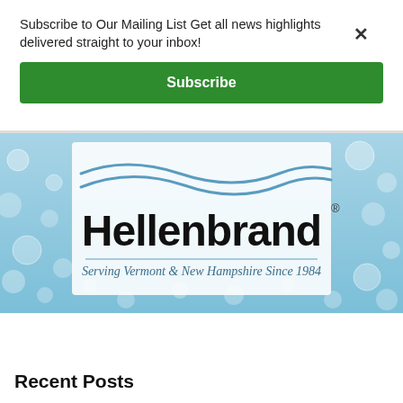Subscribe to Our Mailing List Get all news highlights delivered straight to your inbox!
Subscribe
[Figure (logo): Hellenbrand water treatment company advertisement banner. Blue background with water droplets, wave design, bold black Hellenbrand text, and tagline 'Serving Vermont & New Hampshire Since 1984']
Search The Vermont Journal & The Shopper
Recent Posts